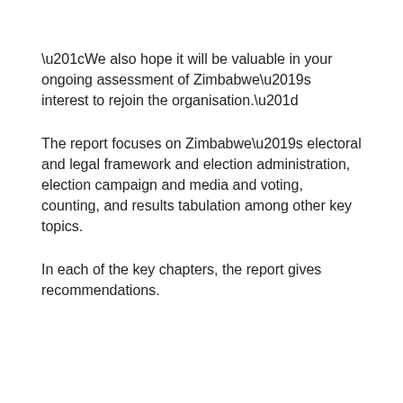“We also hope it will be valuable in your ongoing assessment of Zimbabwe’s interest to rejoin the organisation.”
The report focuses on Zimbabwe’s electoral and legal framework and election administration, election campaign and media and voting, counting, and results tabulation among other key topics.
In each of the key chapters, the report gives recommendations.